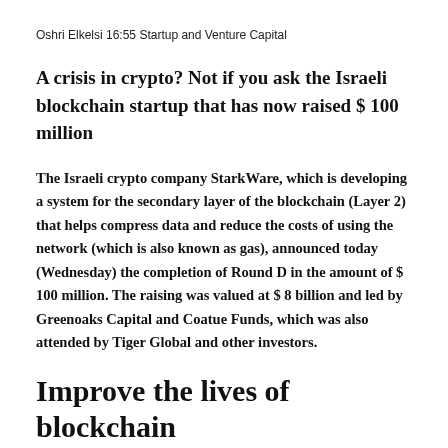Oshri Elkelsi 16:55 Startup and Venture Capital
A crisis in crypto? Not if you ask the Israeli blockchain startup that has now raised $ 100 million
The Israeli crypto company StarkWare, which is developing a system for the secondary layer of the blockchain (Layer 2) that helps compress data and reduce the costs of using the network (which is also known as gas), announced today (Wednesday) the completion of Round D in the amount of $ 100 million. The raising was valued at $ 8 billion and led by Greenoaks Capital and Coatue Funds, which was also attended by Tiger Global and other investors.
Improve the lives of blockchain